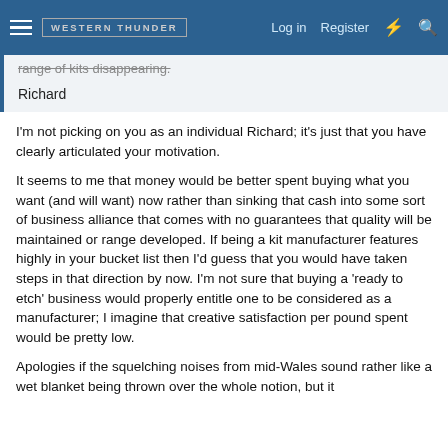WESTERN THUNDER | Log in | Register
range of kits disappearing.
Richard
I'm not picking on you as an individual Richard; it's just that you have clearly articulated your motivation.
It seems to me that money would be better spent buying what you want (and will want) now rather than sinking that cash into some sort of business alliance that comes with no guarantees that quality will be maintained or range developed. If being a kit manufacturer features highly in your bucket list then I'd guess that you would have taken steps in that direction by now. I'm not sure that buying a 'ready to etch' business would properly entitle one to be considered as a manufacturer; I imagine that creative satisfaction per pound spent would be pretty low.
Apologies if the squelching noises from mid-Wales sound rather like a wet blanket being thrown over the whole notion, but it